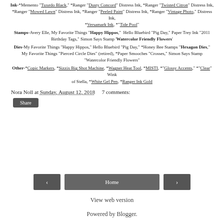Ink-*Memento "Tuxedo Black," *Ranger "Dusty Concord" Distress Ink, *Ranger "Twisted Citron" Distress Ink, *Ranger "Mowed Lawn" Distress Ink, *Ranger "Peeled Paint" Distress Ink, *Ranger "Vintage Photo" Distress Ink, *Versamark Ink, *"Tide Pool"
Stamps-Avery Elle, My Favorite Things "Happy Hippos," Hello Bluebird "Pig Day," Paper Trey Ink "2011 Birthday Tags," Simon Says Stamp 'Watercolor Friendly Flowers'
Dies-My Favorite Things "Happy Hippos," Hello Bluebird "Pig Day," *Honey Bee Stamps "Hexagon Dies," My Favorite Things "Pierced Circle Dies" (retired), *Paper Smooches "Crosses," Simon Says Stamp "Watercolor Friendly Flowers"
Other-*Copic Markers, *Sizzix Big Shot Machine, *Wagner Heat Tool, *MISTI, *"Glossy Accents," *"Clear" Wink of Stella, *White Gel Pen, *Ranger Ink Gold
Nora Noll at Sunday, August 12, 2018   7 comments:
Share
Home
View web version
Powered by Blogger.